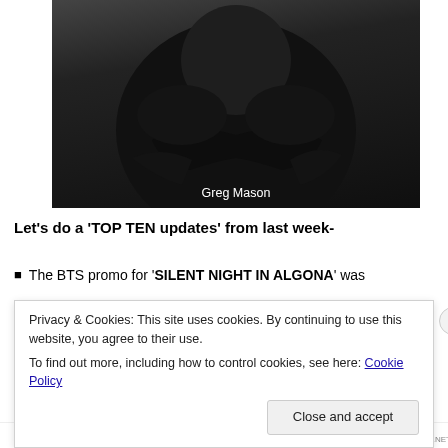[Figure (photo): A person wearing a black shirt with arms crossed/folded, photographed against a dark background. Caption reads 'Greg Mason'.]
Greg Mason
Let’s do a ‘TOP TEN updates’ from last week-
The BTS promo for ‘SILENT NIGHT IN ALGONA’ was
Privacy & Cookies: This site uses cookies. By continuing to use this website, you agree to their use.
To find out more, including how to control cookies, see here: Cookie Policy
Close and accept